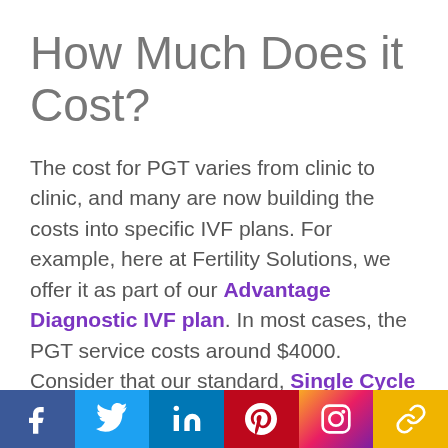How Much Does it Cost?
The cost for PGT varies from clinic to clinic, and many are now building the costs into specific IVF plans. For example, here at Fertility Solutions, we offer it as part of our Advantage Diagnostic IVF plan. In most cases, the PGT service costs around $4000. Consider that our standard, Single Cycle IVF plan costs $9500.
Comprehensive analysis of IVF cycles without PGT shows it takes an average
[Figure (infographic): Social media share bar with icons for Facebook, Twitter, LinkedIn, Pinterest, Instagram, and a chain/link icon on colored backgrounds]